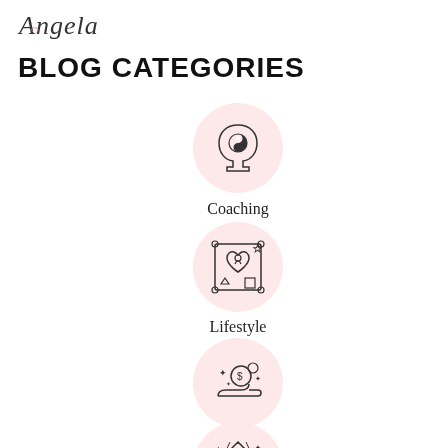[Figure (logo): Handwritten/script style text reading 'Angela' in cursive with a small heart]
BLOG CATEGORIES
[Figure (illustration): Pink circle icon with a side-profile head containing a yin-yang symbol]
Coaching
[Figure (illustration): Pink circle icon with a heart inside a design frame with corner handles and a star]
Lifestyle
[Figure (illustration): Pink circle icon with a hand holding coins/money with sparkles]
Business
[Figure (illustration): Pink circle icon with a diamond and ring/circles below it with sparkles (partially visible)]